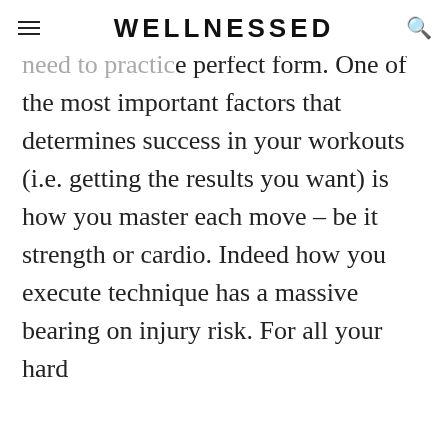WELLNESSED
...or all your hard work to pay off you need to practice perfect form. One of the most important factors that determines success in your workouts (i.e. getting the results you want) is how you master each move – be it strength or cardio. Indeed how you execute technique has a massive bearing on injury risk. For all your hard w... F... p... It... fo... o... for your activities
We use cookies on our website to give you the most relevant experience by remembering your preferences and repeat visits.

By clicking "Accept" you consent to the use of all cookies.

However, you may visit "Options" to provide a controlled consent.